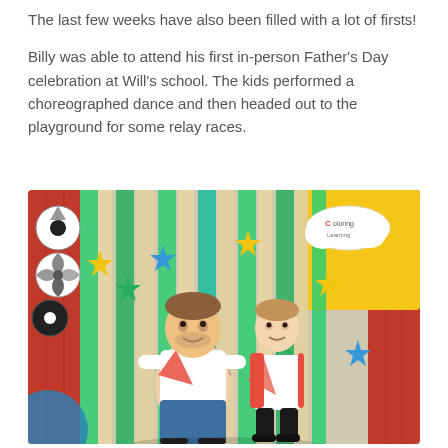The last few weeks have also been filled with a lot of firsts!

Billy was able to attend his first in-person Father's Day celebration at Will's school. The kids performed a choreographed dance and then headed out to the playground for some relay races.
[Figure (photo): A man and a young boy posing together in front of a colorful backdrop decorated with green and cream streamers and star cutouts in yellow, green, blue and purple. Both wear white jerseys with red diagonal stripes (Peru football kit). The boy also wears a red jacket. On the right side of the backdrop is a yellow panel with a 'Coloring Learning' logo cloud graphic. Soccer ball decorations are visible on the left.]